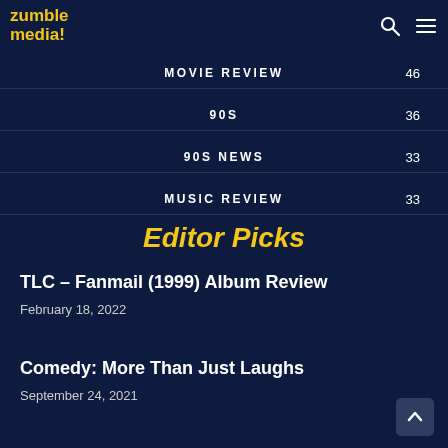Zumble Media!
MOVIE REVIEW 46
90S 36
90S NEWS 33
MUSIC REVIEW 33
Editor Picks
TLC – Fanmail (1999) Album Review
February 18, 2022
Comedy: More Than Just Laughs
September 24, 2021